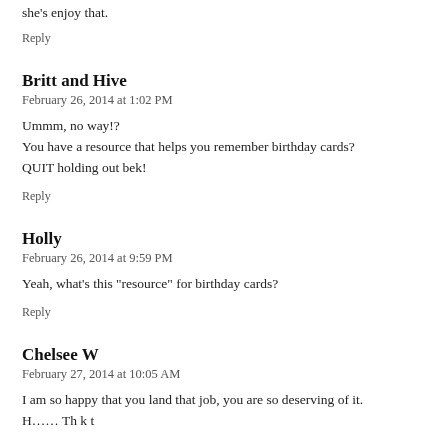she's enjoy that.
Reply
Britt and Hive
February 26, 2014 at 1:02 PM
Ummm, no way!?
You have a resource that helps you remember birthday cards?
QUIT holding out bek!
Reply
Holly
February 26, 2014 at 9:59 PM
Yeah, what's this "resource" for birthday cards?
Reply
Chelsee W
February 27, 2014 at 10:05 AM
I am so happy that you land that job, you are so deserving of it.